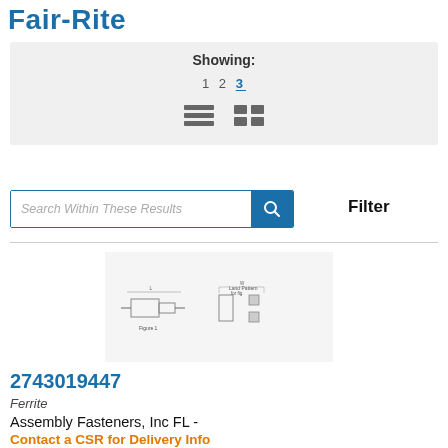Fair-Rite
Showing: 1 2 3 (view icons)
Search Within These Results
Filter
[Figure (schematic): Technical schematic drawing showing component dimensions and land pattern for a ferrite bead component, labeled Figure 1]
2743019447
Ferrite
Assembly Fasteners, Inc FL -
Contact a CSR for Delivery Info